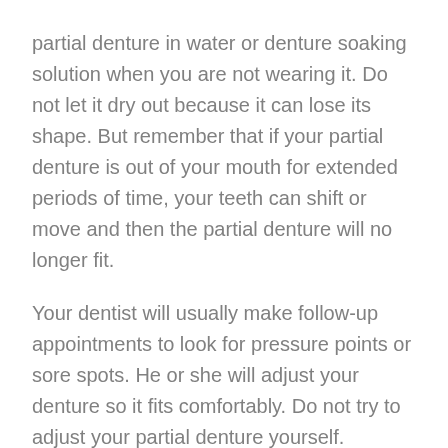partial denture in water or denture soaking solution when you are not wearing it. Do not let it dry out because it can lose its shape. But remember that if your partial denture is out of your mouth for extended periods of time, your teeth can shift or move and then the partial denture will no longer fit.
Your dentist will usually make follow-up appointments to look for pressure points or sore spots. He or she will adjust your denture so it fits comfortably. Do not try to adjust your partial denture yourself.
Over time, as you age and your mouth changes, your removable partial denture may no longer fit